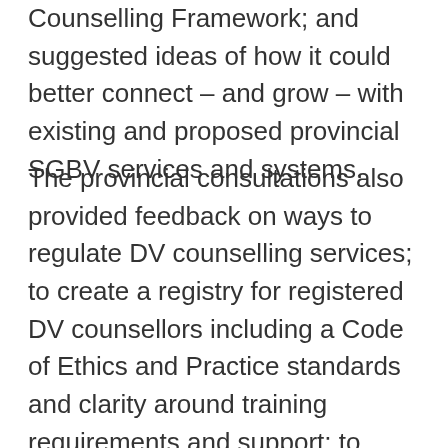Counselling Framework; and suggested ideas of how it could better connect – and grow – with existing and proposed provincial SGBV services and systems.
The provincial consultations also provided feedback on ways to regulate DV counselling services; to create a registry for registered DV counsellors including a Code of Ethics and Practice standards and clarity around training requirements and support; to strengthen domestic violence counselling skills at national and regional levels; and to strengthen quality assurance through clinical supervision of, and support for, domestic violence counsellors at national and regional levels.